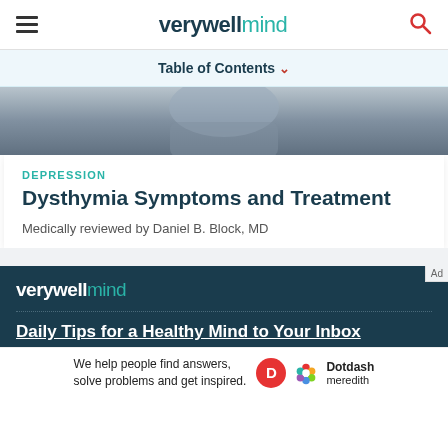verywell mind
Table of Contents ˅
[Figure (photo): Partial photo of a person with head in hands, suggesting distress or depression]
DEPRESSION
Dysthymia Symptoms and Treatment
Medically reviewed by Daniel B. Block, MD
[Figure (logo): verywell mind logo in white and teal on dark teal background]
Daily Tips for a Healthy Mind to Your Inbox
[Figure (infographic): Advertisement banner: We help people find answers, solve problems and get inspired. Dotdash meredith logo.]